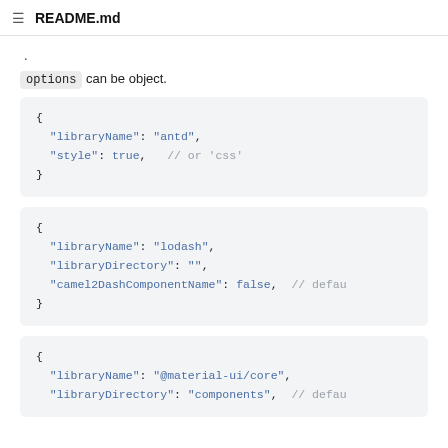README.md
. options can be object.
{
  "libraryName": "antd",
  "style": true,   // or 'css'
}
{
  "libraryName": "lodash",
  "libraryDirectory": "",
  "camel2DashComponentName": false,  // defau
}
{
  "libraryName": "@material-ui/core",
  "libraryDirectory": "components",  // defau
}